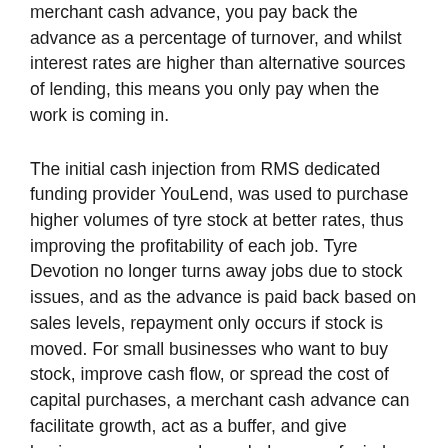merchant cash advance, you pay back the advance as a percentage of turnover, and whilst interest rates are higher than alternative sources of lending, this means you only pay when the work is coming in.
The initial cash injection from RMS dedicated funding provider YouLend, was used to purchase higher volumes of tyre stock at better rates, thus improving the profitability of each job. Tyre Devotion no longer turns away jobs due to stock issues, and as the advance is paid back based on sales levels, repayment only occurs if stock is moved. For small businesses who want to buy stock, improve cash flow, or spread the cost of capital purchases, a merchant cash advance can facilitate growth, act as a buffer, and give business owners much needed peace of mind.